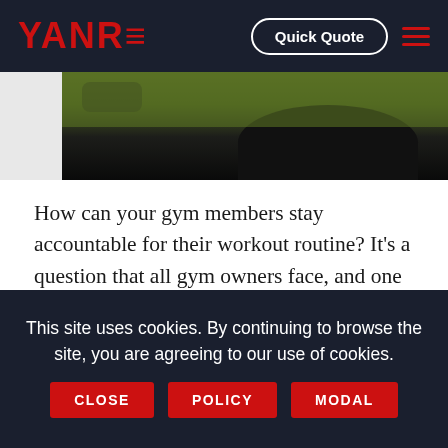YANRE | Quick Quote
[Figure (photo): Partial view of a person exercising outdoors on grass, showing lower body in black workout clothes, with gym equipment visible. Image is cropped to show only the top portion.]
How can your gym members stay accountable for their workout routine? It's a question that all gym owners face, and one that's not always easy to answer. After all, you can't be there to monitor every single person's workout. But, there are ways to help your members stay
This site uses cookies. By continuing to browse the site, you are agreeing to our use of cookies.
CLOSE | POLICY | MODAL